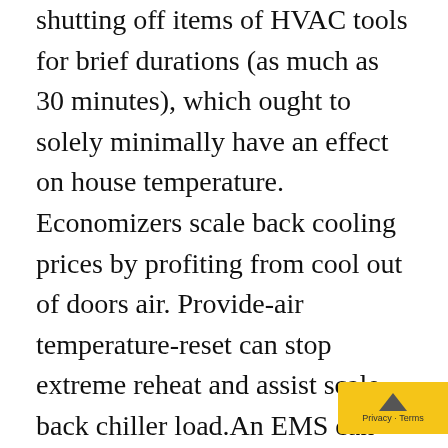shutting off items of HVAC tools for brief durations (as much as 30 minutes), which ought to solely minimally have an effect on house temperature. Economizers scale back cooling prices by profiting from cool out of doors air. Provide-air temperature-reset can stop extreme reheat and assist scale back chiller load.An EMS can present an abundance of details about constructing efficiency, however somebody has to determine what they need the EMS to do after which give it instructions. Calibrating controls, testing and balancing are key to any well-maintained HVAC system, however are particularly vi... ontinuing...ects. Variable...it